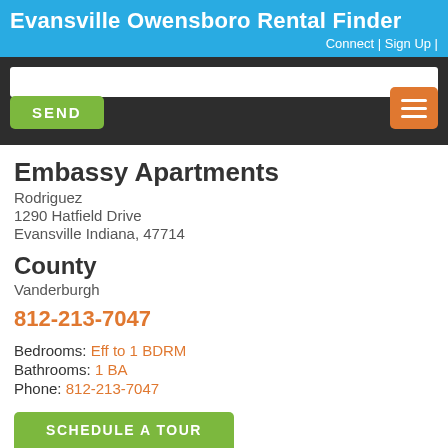Evansville Owensboro Rental Finder
Connect | Sign Up |
Embassy Apartments
Rodriguez
1290 Hatfield Drive
Evansville Indiana, 47714
County
Vanderburgh
812-213-7047
Bedrooms: Eff to 1 BDRM
Bathrooms: 1 BA
Phone: 812-213-7047
SCHEDULE A TOUR